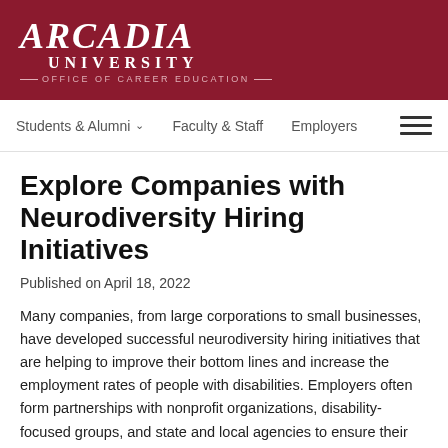[Figure (logo): Arcadia University Office of Career Education logo, white text on dark red background]
Students & Alumni ∨   Faculty & Staff   Employers   ≡
Explore Companies with Neurodiversity Hiring Initiatives
Published on April 18, 2022
Many companies, from large corporations to small businesses, have developed successful neurodiversity hiring initiatives that are helping to improve their bottom lines and increase the employment rates of people with disabilities. Employers often form partnerships with nonprofit organizations, disability-focused groups, and state and local agencies to ensure their hiring initiatives are successful. EARN has compiled a list of some well-known companies who are implementing neurodiversity hiring initiatives to...